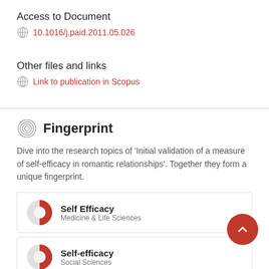Access to Document
10.1016/j.paid.2011.05.026
Other files and links
Link to publication in Scopus
Fingerprint
Dive into the research topics of 'Initial validation of a measure of self-efficacy in romantic relationships'. Together they form a unique fingerprint.
Self Efficacy
Medicine & Life Sciences
Self-efficacy
Social Sciences